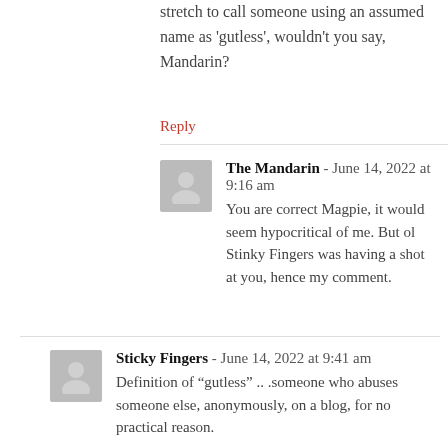stretch to call someone using an assumed name as 'gutless', wouldn't you say, Mandarin?
Reply
The Mandarin - June 14, 2022 at 9:16 am
You are correct Magpie, it would seem hypocritical of me. But ol Stinky Fingers was having a shot at you, hence my comment.
Sticky Fingers - June 14, 2022 at 9:41 am
Definition of "gutless" .. .someone who abuses someone else, anonymously, on a blog, for no practical reason.